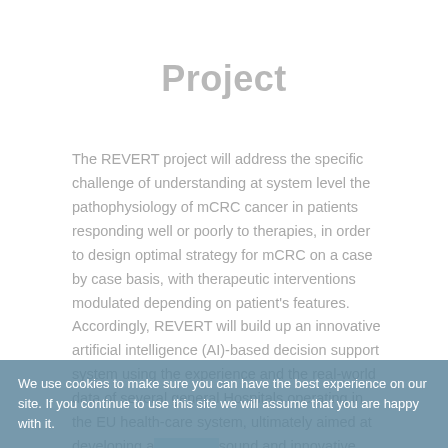Project
The REVERT project will address the specific challenge of understanding at system level the pathophysiology of mCRC cancer in patients responding well or poorly to therapies, in order to design optimal strategy for mCRC on a case by case basis, with therapeutic interventions modulated depending on patient's features. Accordingly, REVERT will build up an innovative artificial intelligence (AI)-based decision support system using the experience and the real-world data of several general Hospitals operating in the EU health-care system, ultimately aimed at developing a sound and innovative model of combinatorial therapy – based on a personalised medicine approach - that identifies the –
We use cookies to make sure you can have the best experience on our site. If you continue to use this site we will assume that you are happy with it.